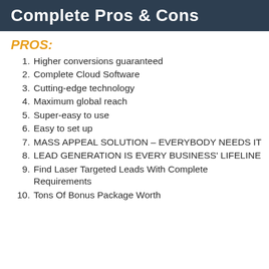Complete Pros & Cons
PROS:
Higher conversions guaranteed
Complete Cloud Software
Cutting-edge technology
Maximum global reach
Super-easy to use
Easy to set up
MASS APPEAL SOLUTION – EVERYBODY NEEDS IT
LEAD GENERATION IS EVERY BUSINESS' LIFELINE
Find Laser Targeted Leads With Complete Requirements
Tons Of Bonus Package Worth